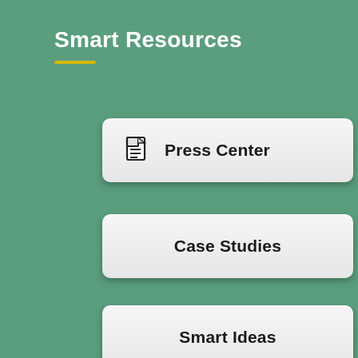Smart Resources
Press Center
Case Studies
Smart Ideas